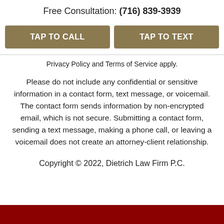Free Consultation: (716) 839-3939
TAP TO CALL
TAP TO TEXT
Privacy Policy and Terms of Service apply.
Please do not include any confidential or sensitive information in a contact form, text message, or voicemail. The contact form sends information by non-encrypted email, which is not secure. Submitting a contact form, sending a text message, making a phone call, or leaving a voicemail does not create an attorney-client relationship.
Copyright © 2022, Dietrich Law Firm P.C.